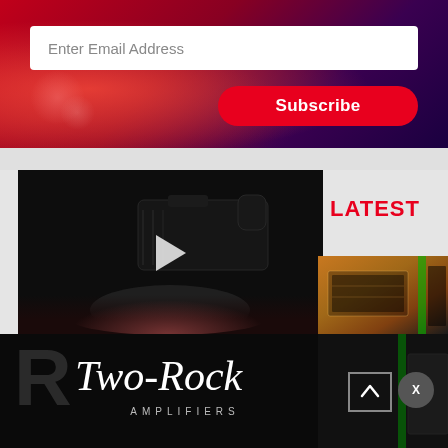[Figure (screenshot): Email subscription banner with red/dark gradient background, white email input field and red Subscribe button]
Enter Email Address
Subscribe
[Figure (screenshot): Video player showing dark guitar pedal image with play button overlay]
LATEST
[Figure (photo): Thumbnail of amplifier gear in orange/brown tones]
[Figure (logo): Two-Rock Amplifiers logo in white script font on black background]
AMPLIFIERS